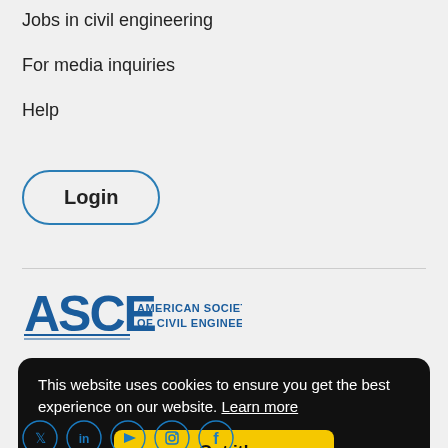Jobs in civil engineering
For media inquiries
Help
Login
[Figure (logo): ASCE American Society of Civil Engineers logo in blue]
This website uses cookies to ensure you get the best experience on our website. Learn more
Got it!
[Figure (other): Social media icons: Twitter, LinkedIn, YouTube, Instagram, Facebook]